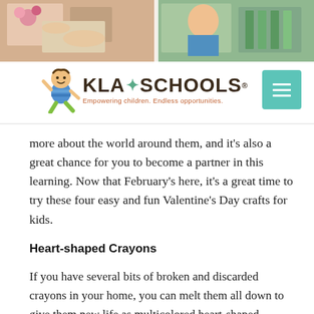[Figure (photo): Photo strip showing children doing arts and crafts activities, hands visible working on crafts with colorful materials on a table]
[Figure (logo): KLA Schools logo with cartoon child character, text 'KLA SCHOOLS' and tagline 'Empowering children. Endless opportunities.']
[Figure (other): Teal/turquoise hamburger menu button with three horizontal white lines]
more about the world around them, and it's also a great chance for you to become a partner in this learning. Now that February's here, it's a great time to try these four easy and fun Valentine's Day crafts for kids.
Heart-shaped Crayons
If you have several bits of broken and discarded crayons in your home, you can melt them all down to give them new life as multicolored heart-shaped crayons. Kids will love the fun colors, and many of them enjoy helping to peel the